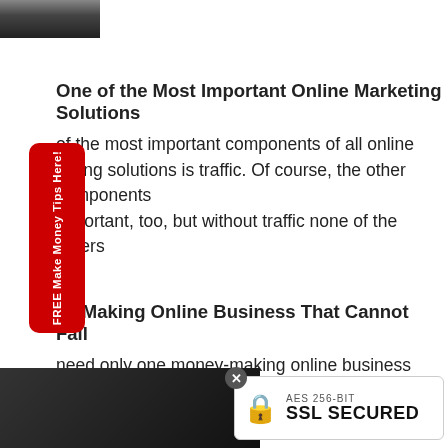[Figure (photo): Small portrait photo thumbnail at top left corner]
One of the Most Important Online Marketing Solutions
of the most important components of all online marketing solutions is traffic. Of course, the other components important, too, but without traffic none of the others er...
ey Making Online Business That Cannot Fail
need only one money-making online business that cannot o take you from where you are now to where you want to be. Here's what it is.
[Figure (screenshot): Screenshot thumbnail at bottom left]
[Figure (photo): Photo thumbnail at bottom right partially visible]
AES 256-BIT SSL SECURED